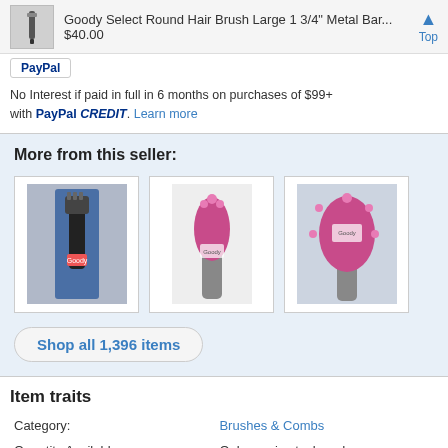Goody Select Round Hair Brush Large 1 3/4" Metal Bar... $40.00 Top
No Interest if paid in full in 6 months on purchases of $99+ with PayPal CREDIT. Learn more
More from this seller:
[Figure (photo): Three product images from seller: hair brush in packaging, pink hair brush, pink round brush]
Shop all 1,396 items
Item traits
| Category: | Brushes & Combs |
| Quantity Available: | Only one in stock, order soon |
| Condition: | New |